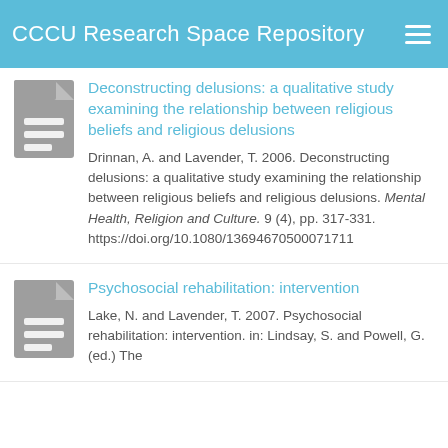CCCU Research Space Repository
Deconstructing delusions: a qualitative study examining the relationship between religious beliefs and religious delusions
Drinnan, A. and Lavender, T. 2006. Deconstructing delusions: a qualitative study examining the relationship between religious beliefs and religious delusions. Mental Health, Religion and Culture. 9 (4), pp. 317-331. https://doi.org/10.1080/13694670500071711
Psychosocial rehabilitation: intervention
Lake, N. and Lavender, T. 2007. Psychosocial rehabilitation: intervention. in: Lindsay, S. and Powell, G. (ed.) The